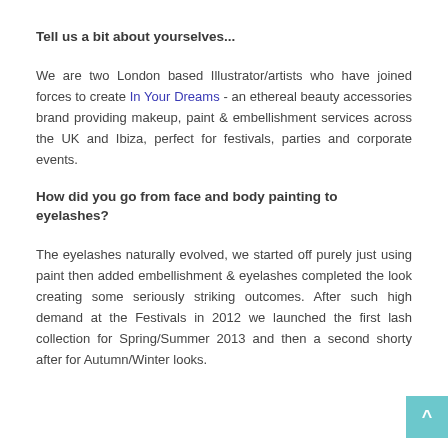Tell us a bit about yourselves...
We are two London based Illustrator/artists who have joined forces to create In Your Dreams - an ethereal beauty accessories brand providing makeup, paint & embellishment services across the UK and Ibiza, perfect for festivals, parties and corporate events.
How did you go from face and body painting to eyelashes?
The eyelashes naturally evolved, we started off purely just using paint then added embellishment & eyelashes completed the look creating some seriously striking outcomes. After such high demand at the Festivals in 2012 we launched the first lash collection for Spring/Summer 2013 and then a second shorty after for Autumn/Winter looks.